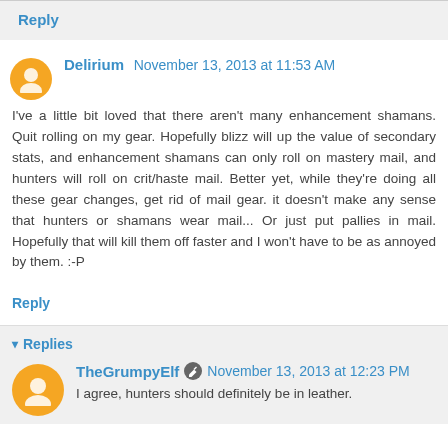Reply
Delirium  November 13, 2013 at 11:53 AM
I've a little bit loved that there aren't many enhancement shamans. Quit rolling on my gear. Hopefully blizz will up the value of secondary stats, and enhancement shamans can only roll on mastery mail, and hunters will roll on crit/haste mail. Better yet, while they're doing all these gear changes, get rid of mail gear. it doesn't make any sense that hunters or shamans wear mail... Or just put pallies in mail. Hopefully that will kill them off faster and I won't have to be as annoyed by them. :-P
Reply
Replies
TheGrumpyElf  November 13, 2013 at 12:23 PM
I agree, hunters should definitely be in leather.